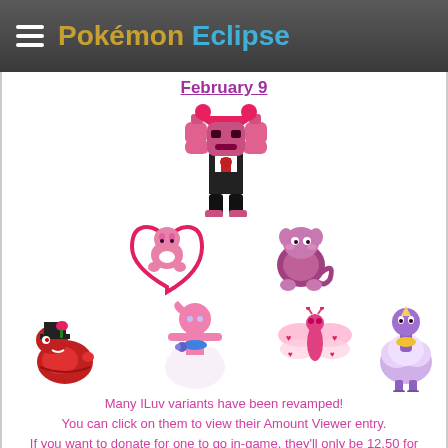Pokémon Eclipse
February 9
[Figure (illustration): Pixel-art Pokemon sprite: large pink/dark Machamp-like Pokemon wearing tuxedo, posing with heart hands, surrounded by smaller Valentine-themed Pokemon sprites arranged in triangle pattern - Mew with heart tail, purple Squirtle variant, red snake with rose hat, pink Gardevoir in wedding dress, pink dragonfly with hearts, purple Altaria variant]
Many ILuv variants have been revamped! You can click on them to view their Amount Viewer entry. If you want to donate for one to go in-game, they'll only be 12.50 for the next while.